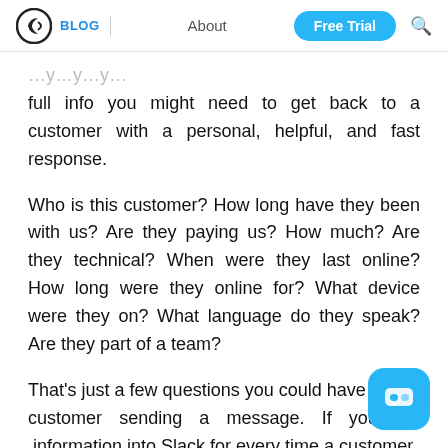BLOG | About | Free Trial
full info you might need to get back to a customer with a personal, helpful, and fast response.
Who is this customer? How long have they been with us? Are they paying us? How much? Are they technical? When were they last online? How long were they online for? What device were they on? What language do they speak? Are they part of a team?
That's just a few questions you could have a any customer sending a message. If you put information into Slack for every time a customer